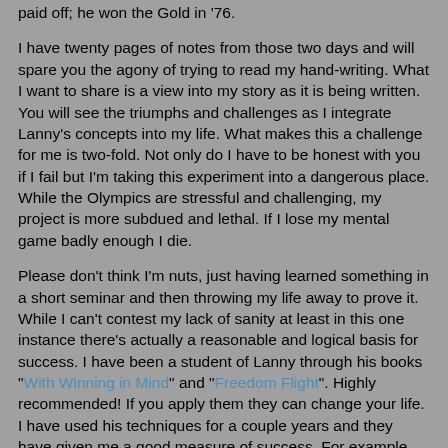paid off; he won the Gold in '76.
I have twenty pages of notes from those two days and will spare you the agony of trying to read my hand-writing. What I want to share is a view into my story as it is being written. You will see the triumphs and challenges as I integrate Lanny's concepts into my life. What makes this a challenge for me is two-fold. Not only do I have to be honest with you if I fail but I'm taking this experiment into a dangerous place. While the Olympics are stressful and challenging, my project is more subdued and lethal. If I lose my mental game badly enough I die.
Please don't think I'm nuts, just having learned something in a short seminar and then throwing my life away to prove it. While I can't contest my lack of sanity at least in this one instance there's actually a reasonable and logical basis for success. I have been a student of Lanny through his books "With Winning in Mind" and "Freedom Flight". Highly recommended! If you apply them they can change your life. I have used his techniques for a couple years and they have given me a good measure of success. For example, right after class I drove a few hours to visit my daughter and used tools directly from class to